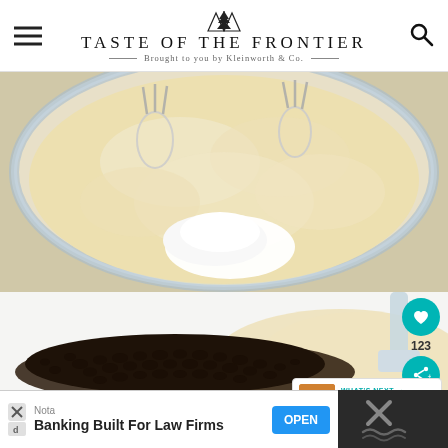TASTE OF THE FRONTIER — Brought to you by Kleinworth & Co.
[Figure (photo): Glass bowl with creamy batter being mixed, with a pile of white powdered ingredient (flour/sugar) added, electric mixer beaters visible]
[Figure (photo): Bowl with cookie dough and a large pile of chocolate chips being added, with a rubber spatula]
123
WHAT'S NEXT → Candy Corn Cookie Dou...
Nota
Banking Built For Law Firms
OPEN